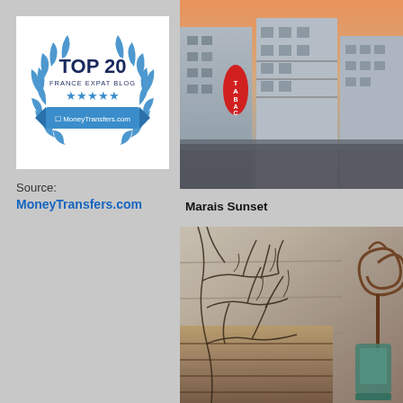[Figure (logo): Top 20 France Expat Blog badge from MoneyTransfers.com with blue laurel wreath, five stars, and banner]
Source:
MoneyTransfers.com
[Figure (photo): Marais Sunset - Parisian street scene at dusk with TABAC sign, Haussmann buildings, balconies, and warm sunset sky]
Marais Sunset
[Figure (photo): Close-up of weathered wall with bare tree branches, rusty iron decorative element, and aged wooden/stone textures]